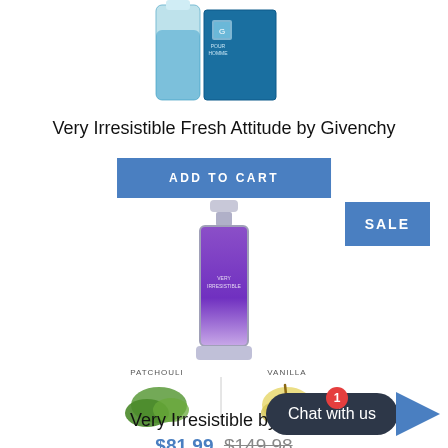[Figure (photo): Givenchy Very Irresistible Fresh Attitude perfume bottle and box in teal/blue color, partially visible at top of page]
Very Irresistible Fresh Attitude by Givenchy
ADD TO CART
SALE
[Figure (photo): Givenchy Very Irresistible perfume bottle with purple/violet gradient color in tall slender bottle with silver cap]
[Figure (photo): Scent notes imagery showing patchouli leaves and vanilla flower with labels Patchouli and Vanilla]
Very Irresistible by Gi…
$81.99 $149.98